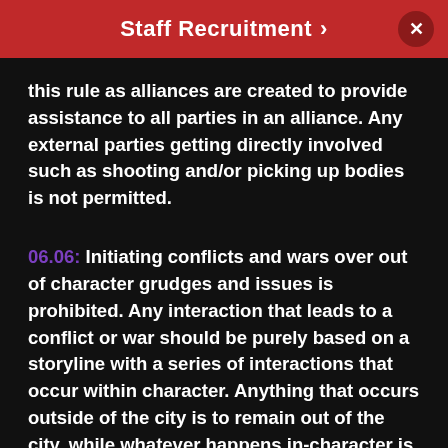Staff Recruitment >
this rule as alliances are created to provide assistance to all parties in an alliance. Any external parties getting directly involved such as shooting and/or picking up bodies is not permitted.
06.06: Initiating conflicts and wars over out of character grudges and issues is prohibited. Any interaction that leads to a conflict or war should be purely based on a storyline with a series of interactions that occur within character. Anything that occurs outside of the city is to remain out of the city, while whatever happens in-character is to remain in-character.